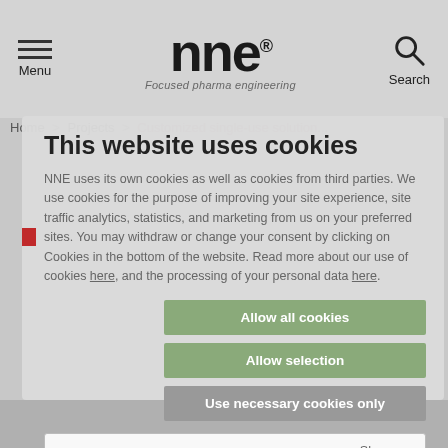[Figure (logo): NNE logo with tagline 'Focused pharma engineering']
Menu | Search
Home > Projects > Customized single-use solution...
This website uses cookies
NNE uses its own cookies as well as cookies from third parties. We use cookies for the purpose of improving your site experience, site traffic analytics, statistics, and marketing from us on your preferred sites. You may withdraw or change your consent by clicking on Cookies in the bottom of the website. Read more about our use of cookies here, and the processing of your personal data here.
Allow all cookies
Allow selection
Use necessary cookies only
Necessary  Preferences  Statistics  Marketing  Show details